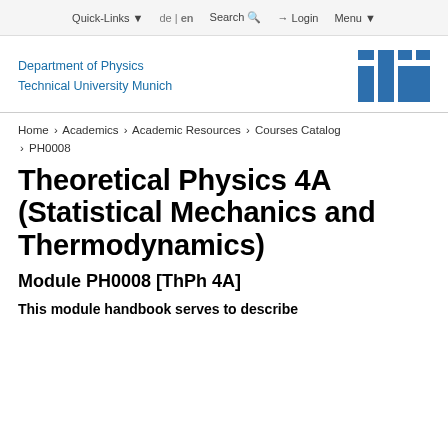Quick-Links ▼   de | en   Search 🔍   ⇒ Login   Menu ▼
[Figure (logo): Department of Physics Technical University Munich text logo on the left and TUM pillar logo on the right]
Home › Academics › Academic Resources › Courses Catalog › PH0008
Theoretical Physics 4A (Statistical Mechanics and Thermodynamics)
Module PH0008 [ThPh 4A]
This module handbook serves to describe